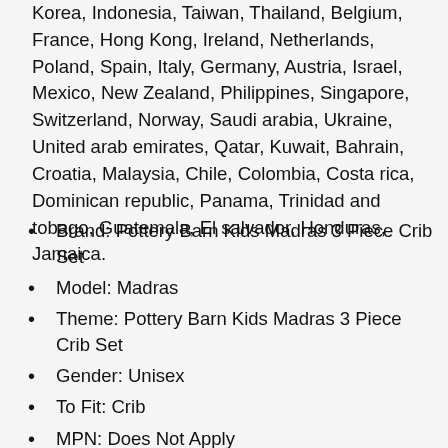Korea, Indonesia, Taiwan, Thailand, Belgium, France, Hong Kong, Ireland, Netherlands, Poland, Spain, Italy, Germany, Austria, Israel, Mexico, New Zealand, Philippines, Singapore, Switzerland, Norway, Saudi arabia, Ukraine, United arab emirates, Qatar, Kuwait, Bahrain, Croatia, Malaysia, Chile, Colombia, Costa rica, Dominican republic, Panama, Trinidad and tobago, Guatemala, El salvador, Honduras, Jamaica.
Brand: Pottery Barn Kids Madras 3 Piece Crib Set
Model: Madras
Theme: Pottery Barn Kids Madras 3 Piece Crib Set
Gender: Unisex
To Fit: Crib
MPN: Does Not Apply
Color: Multi